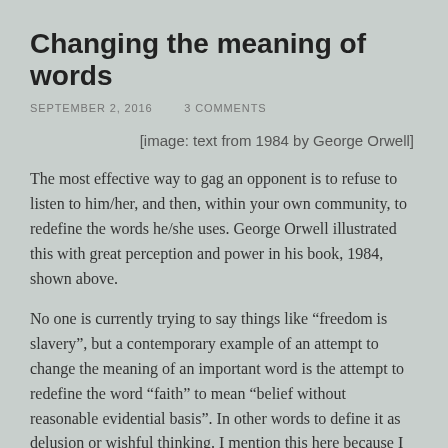Changing the meaning of words
SEPTEMBER 2, 2016    3 COMMENTS
[image: text from 1984 by George Orwell]
The most effective way to gag an opponent is to refuse to listen to him/her, and then, within your own community, to redefine the words he/she uses. George Orwell illustrated this with great perception and power in his book, 1984, shown above.
No one is currently trying to say things like “freedom is slavery”, but a contemporary example of an attempt to change the meaning of an important word is the attempt to redefine the word “faith” to mean “belief without reasonable evidential basis”. In other words to define it as delusion or wishful thinking. I mention this here because I have now seen that nasty redefinition taken for granted